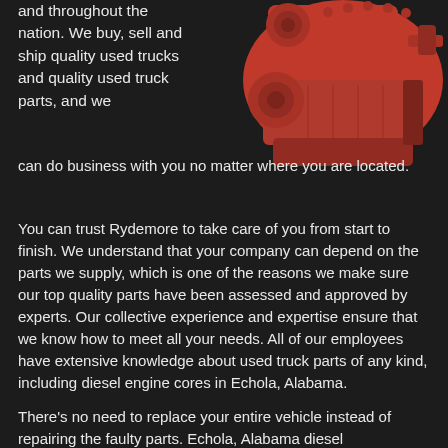and throughout the nation. We buy, sell and ship quality used trucks and quality used truck parts, and we can do business with you no matter where you are located.
[Figure (photo): Red diesel engine / truck engine component photographed against a dark background, top-right area of the page]
You can trust Rydemore to take care of you from start to finish. We understand that your company can depend on the parts we supply, which is one of the reasons we make sure our top quality parts have been assessed and approved by experts. Our collective experience and expertise ensure that we know how to meet all your needs. All of our employees have extensive knowledge about used truck parts of any kind, including diesel engine cores in Echola, Alabama.
There's no need to replace your entire vehicle instead of repairing the faulty parts. Echola, Alabama diesel